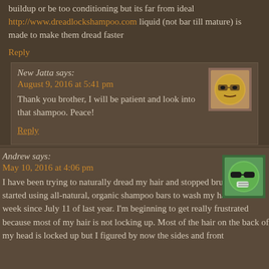buildup or be too conditioning but its far from ideal http://www.dreadlockshampoo.com liquid (not bar till mature) is made to make them dread faster
Reply
New Jatta says:
August 9, 2016 at 5:41 pm
Thank you brother, I will be patient and look into that shampoo. Peace!
[Figure (illustration): User avatar: cartoon face with glasses, yellowish emoji-style]
Reply
Andrew says:
May 10, 2016 at 4:06 pm
[Figure (illustration): User avatar: green cartoon face with dark glasses]
I have been trying to naturally dread my hair and stopped brushing and started using all-natural, organic shampoo bars to wash my hair twice a week since July 11 of last year. I'm beginning to get really frustrated because most of my hair is not locking up. Most of the hair on the back of my head is locked up but I figured by now the sides and front